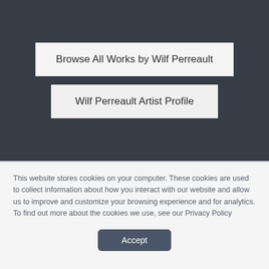Browse All Works by Wilf Perreault
Wilf Perreault Artist Profile
This website stores cookies on your computer. These cookies are used to collect information about how you interact with our website and allow us to improve and customize your browsing experience and for analytics. To find out more about the cookies we use, see our Privacy Policy
Accept